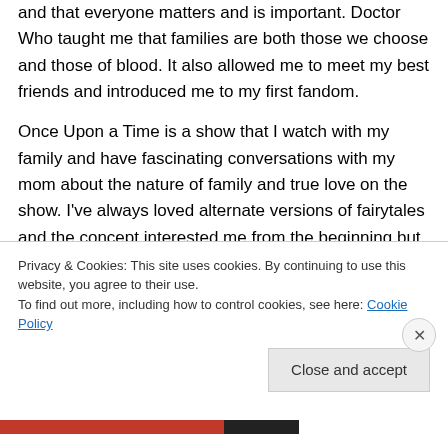and that everyone matters and is important. Doctor Who taught me that families are both those we choose and those of blood. It also allowed me to meet my best friends and introduced me to my first fandom.
Once Upon a Time is a show that I watch with my family and have fascinating conversations with my mom about the nature of family and true love on the show. I've always loved alternate versions of fairytales and the concept interested me from the beginning but I fell in love with
Privacy & Cookies: This site uses cookies. By continuing to use this website, you agree to their use.
To find out more, including how to control cookies, see here: Cookie Policy